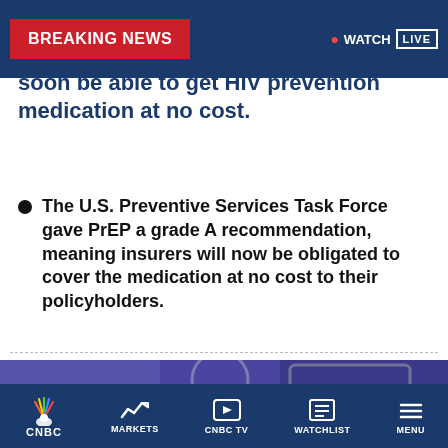BREAKING NEWS | WATCH LIVE
...e health insurance will soon be able to get HIV prevention medication at no cost.
The U.S. Preventive Services Task Force gave PrEP a grade A recommendation, meaning insurers will now be obligated to cover the medication at no cost to their policyholders.
[Figure (photo): Two people in a room with blue/purple walls, one with dreadlocks and one in a light jacket, appearing to be in conversation or consultation]
CNBC | MARKETS | CNBC TV | WATCHLIST | MENU